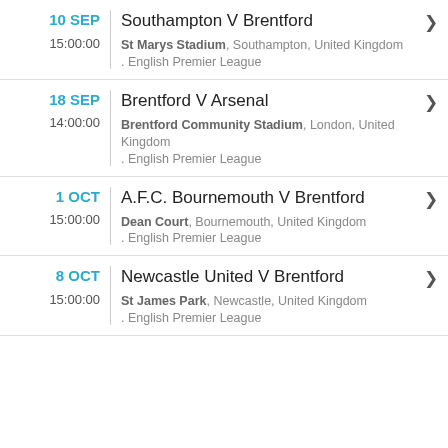10 SEP | Southampton V Brentford | 15:00:00 | St Marys Stadium, Southampton, United Kingdom. English Premier League
18 SEP | Brentford V Arsenal | 14:00:00 | Brentford Community Stadium, London, United Kingdom. English Premier League
1 OCT | A.F.C. Bournemouth V Brentford | 15:00:00 | Dean Court, Bournemouth, United Kingdom. English Premier League
8 OCT | Newcastle United V Brentford | 15:00:00 | St James Park, Newcastle, United Kingdom. English Premier League